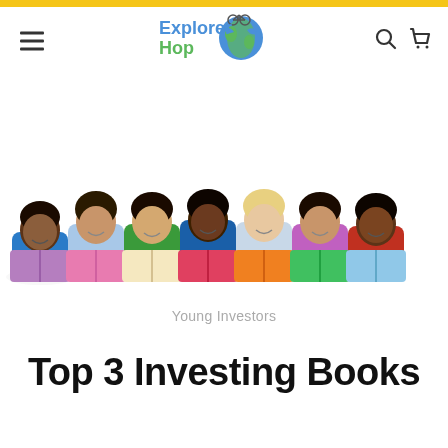Explorer Hop — navigation header with hamburger menu, logo, search and cart icons
[Figure (photo): Seven diverse children lying on their stomachs in a row, each reading a colorful book (purple, pink, yellow/cream, red/pink, orange, green, light blue). White background.]
Young Investors
Top 3 Investing Books